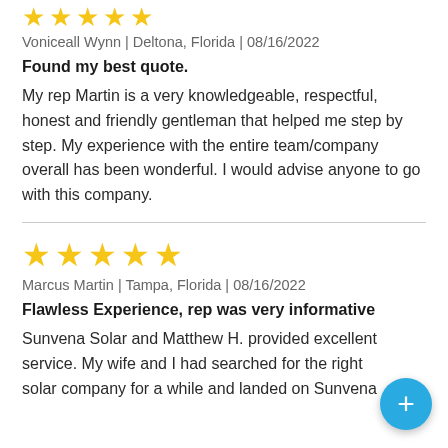[Figure (other): 5 gold star rating icons (partial top, clipped at top of page)]
Voniceall Wynn | Deltona, Florida | 08/16/2022
Found my best quote.
My rep Martin is a very knowledgeable, respectful, honest and friendly gentleman that helped me step by step. My experience with the entire team/company overall has been wonderful. I would advise anyone to go with this company.
[Figure (other): 5 gold star rating icons]
Marcus Martin | Tampa, Florida | 08/16/2022
Flawless Experience, rep was very informative
Sunvena Solar and Matthew H. provided excellen service. My wife and I had searched for the right solar company for a while and landed on Sunvena...